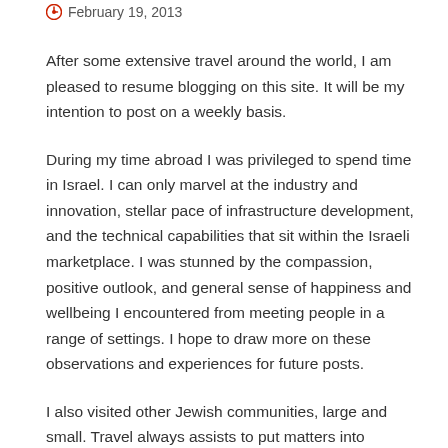February 19, 2013
After some extensive travel around the world, I am pleased to resume blogging on this site. It will be my intention to post on a weekly basis.
During my time abroad I was privileged to spend time in Israel. I can only marvel at the industry and innovation, stellar pace of infrastructure development, and the technical capabilities that sit within the Israeli marketplace. I was stunned by the compassion, positive outlook, and general sense of happiness and wellbeing I encountered from meeting people in a range of settings. I hope to draw more on these observations and experiences for future posts.
I also visited other Jewish communities, large and small. Travel always assists to put matters into perspective. By